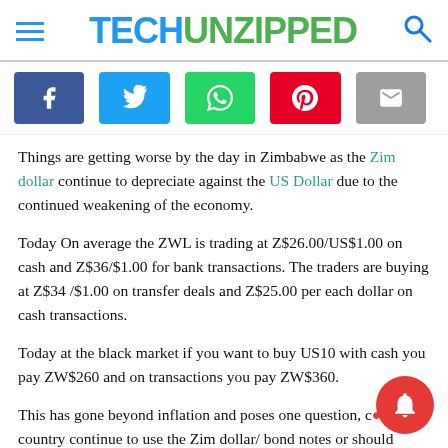TECHUNZIPPED
[Figure (other): Social share buttons: Facebook, Twitter, WhatsApp, Pinterest, Email]
Things are getting worse by the day in Zimbabwe as the Zim dollar continue to depreciate against the US Dollar due to the continued weakening of the economy.
Today On average the ZWL is trading at Z$26.00/US$1.00 on cash and Z$36/$1.00 for bank transactions. The traders are buying at Z$34 /$1.00 on transfer deals and Z$25.00 per each dollar on cash transactions.
Today at the black market if you want to buy US10 with cash you pay ZW$260 and on transactions you pay ZW$360.
This has gone beyond inflation and poses one question, can the country continue to use the Zim dollar/ bond notes or should